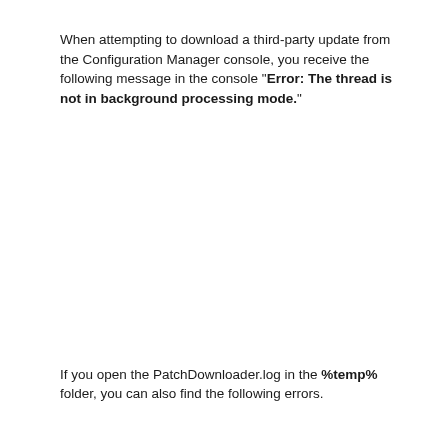When attempting to download a third-party update from the Configuration Manager console, you receive the following message in the console "Error: The thread is not in background processing mode."
If you open the PatchDownloader.log in the %temp% folder, you can also find the following errors.